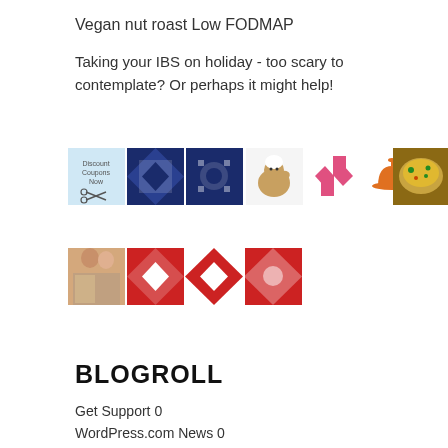Vegan nut roast Low FODMAP
Taking your IBS on holiday - too scary to contemplate? Or perhaps it might help!
[Figure (other): A collage of blog/website thumbnail images arranged in a 2-row grid: top row has a coupon scissors icon, navy blue quilt pattern, navy blue quilt pattern, a cartoon chef squirrel, a pink pinwheel pattern, an orange bell/cloche illustration, and a food photo; bottom row has a portrait photo of two women and red/white quilt patterns.]
BLOGROLL
Get Support 0
WordPress.com News 0